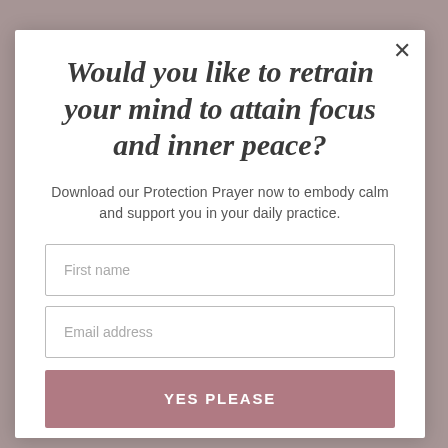Would you like to retrain your mind to attain focus and inner peace?
Download our Protection Prayer now to embody calm and support you in your daily practice.
First name
Email address
YES PLEASE